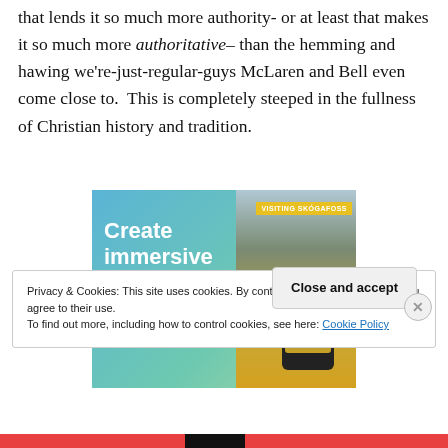that lends it so much more authority- or at least that makes it so much more authoritative– than the hemming and hawing we're-just-regular-guys McLaren and Bell even come close to.  This is completely steeped in the fullness of Christian history and tradition.
[Figure (screenshot): Advertisement banner: 'Create immersive stories.' with waterfall photo and mobile app screenshot showing 'VISITING SKÓGAFOSS']
Privacy & Cookies: This site uses cookies. By continuing to use this website, you agree to their use.
To find out more, including how to control cookies, see here: Cookie Policy
Close and accept